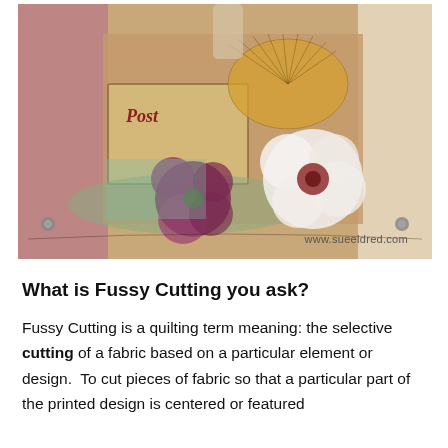[Figure (photo): A decorative mixed-media collage artwork featuring flowers (a dark purple flower and a white flower), vintage postcard elements with 'Post' text, lace doilies, patterned papers, and a small figurine of a woman. Two metal brads visible at left and right edges. Watermark: www.sueeldred.com]
What is Fussy Cutting you ask?
Fussy Cutting is a quilting term meaning: the selective cutting of a fabric based on a particular element or design.  To cut pieces of fabric so that a particular part of the printed design is centered or featured